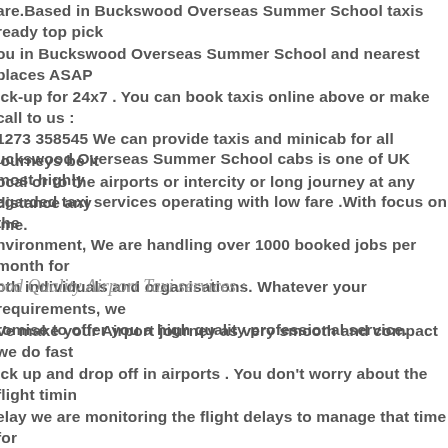are.Based in Buckswood Overseas Summer School taxis ready top pick you in Buckswood Overseas Summer School and nearest places ASAP pick-up for 24x7 . You can book taxis online above or make call to us : 1273 358545 We can provide taxis and minicab for all journeys be it local or to the airports or intercity or long journey at any distance any time.
Buckswood Overseas Summer School cabs is one of UK most highly regarded taxi services operating with low fare .With focus on the environment, We are handling over 1000 booked jobs per month for both individuals and organisations. Whatever your requirements, we promise to offer you a high quality professional service.
ood Quality Airport Taxi services :
We make your Airport journey as very smooth and compact we do fast pick up and drop off in airports . You don't worry about the flight timing delay we are monitoring the flight delays to manage that time for airport pick-up & drop-off our driver will wait and pick you We providing airport taxi services for all over london airports heathrow airport taxi services , gatwick airport taxi services, london city airport taxi services, stansted airport taxi services, luton airport taxi services